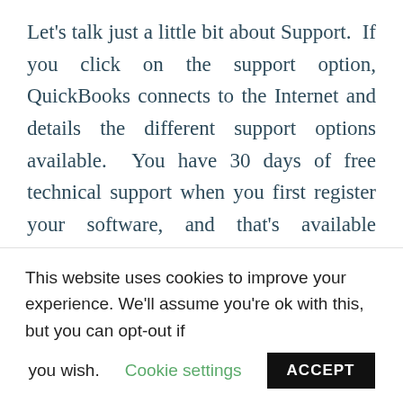Let's talk just a little bit about Support.  If you click on the support option, QuickBooks connects to the Internet and details the different support options available.  You have 30 days of free technical support when you first register your software, and that's available immediately after you purchase it.  You can purchase support from Intuit as well.  You also might want to contact Universal Accounting Center to check on the support that we offer for QuickBooks and the
This website uses cookies to improve your experience. We'll assume you're ok with this, but you can opt-out if you wish.  Cookie settings  ACCEPT